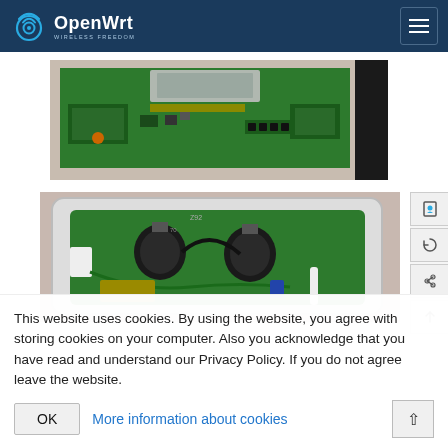OpenWrt – Wireless Freedom
[Figure (photo): Close-up photo of a green circuit board (PCB) with chips, a silver wireless module, and various electronic components on a light background. A black strip runs along the right edge.]
[Figure (photo): Photo of an open white plastic enclosure containing a green circuit board with two large capacitors, wiring (black and green), a transformer, and other components visible from the top.]
This website uses cookies. By using the website, you agree with storing cookies on your computer. Also you acknowledge that you have read and understand our Privacy Policy. If you do not agree leave the website.
OK  More information about cookies